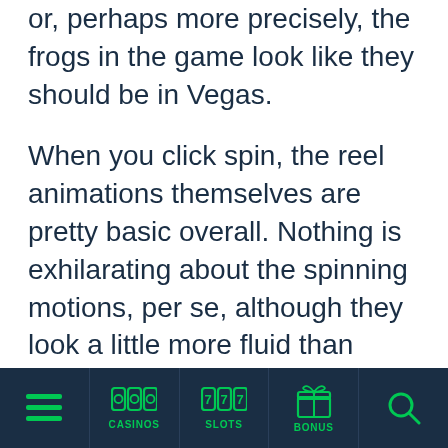or, perhaps more precisely, the frogs in the game look like they should be in Vegas.
When you click spin, the reel animations themselves are pretty basic overall. Nothing is exhilarating about the spinning motions, per se, although they look a little more fluid than some older online slots. Remarkably, despite its stranger premise, the theme works. It's immersive, quirky, and a lot of fun. You'll want to see the Elvis frog
CASINOS | SLOTS | BONUS